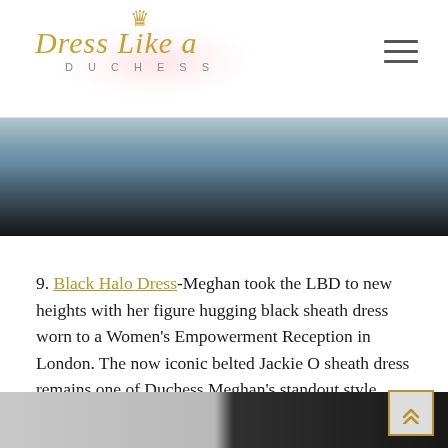Dress Like a Duchess
[Figure (photo): Partial view of a person's lower body in dark pants with a blurred background, cropped image at top of page]
9. Black Halo Dress-Meghan took the LBD to new heights with her figure hugging black sheath dress worn to a Women's Empowerment Reception in London. The now iconic belted Jackie O sheath dress remains one of Duchess Meghan's standout style moments as a senior royal.
[Figure (photo): Bottom partial image showing a person, cropped at page bottom]